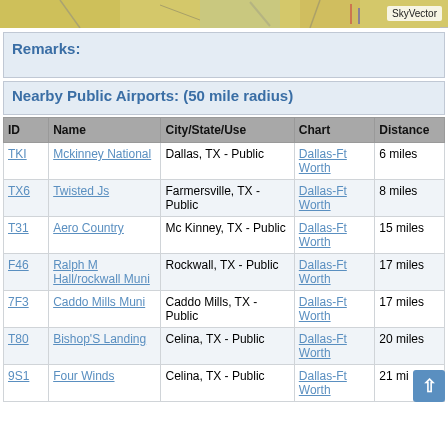[Figure (map): Aerial/sectional map strip with SkyVector watermark]
Remarks:
Nearby Public Airports: (50 mile radius)
| ID | Name | City/State/Use | Chart | Distance |
| --- | --- | --- | --- | --- |
| TKI | Mckinney National | Dallas, TX - Public | Dallas-Ft Worth | 6 miles |
| TX6 | Twisted Js | Farmersville, TX - Public | Dallas-Ft Worth | 8 miles |
| T31 | Aero Country | Mc Kinney, TX - Public | Dallas-Ft Worth | 15 miles |
| F46 | Ralph M Hall/rockwall Muni | Rockwall, TX - Public | Dallas-Ft Worth | 17 miles |
| 7F3 | Caddo Mills Muni | Caddo Mills, TX - Public | Dallas-Ft Worth | 17 miles |
| T80 | Bishop'S Landing | Celina, TX - Public | Dallas-Ft Worth | 20 miles |
| 9S1 | Four Winds | Celina, TX - Public | Dallas-Ft Worth | 21 miles |